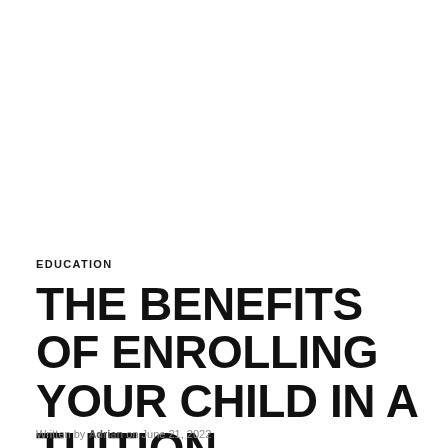EDUCATION
THE BENEFITS OF ENROLLING YOUR CHILD IN A TUITION PROGRAMME
Written by Adrian on June 21, 2022